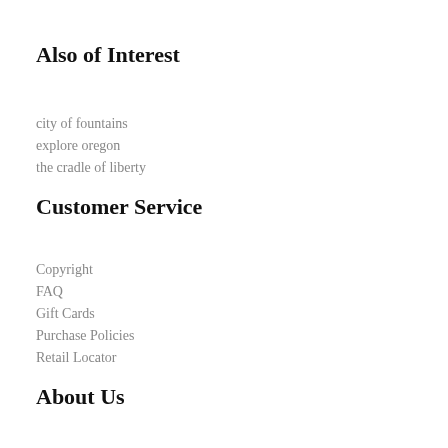Also of Interest
city of fountains
explore oregon
the cradle of liberty
Customer Service
Copyright
FAQ
Gift Cards
Purchase Policies
Retail Locator
About Us
About Sticks
Careers
Custom Sticks